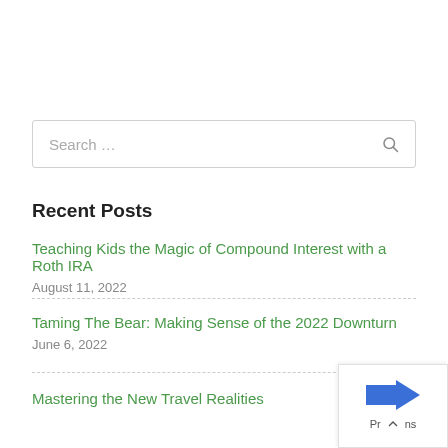Search …
Recent Posts
Teaching Kids the Magic of Compound Interest with a Roth IRA
August 11, 2022
Taming The Bear: Making Sense of the 2022 Downturn
June 6, 2022
Mastering the New Travel Realities